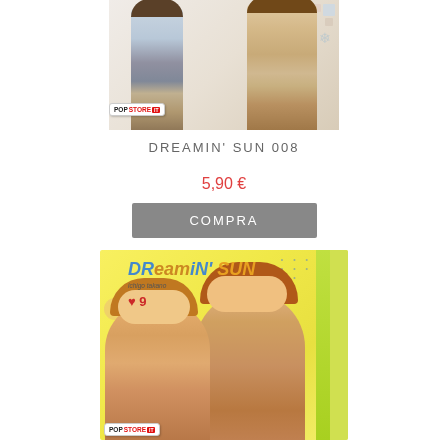[Figure (photo): Top portion of manga book cover for Dreamin' Sun 008, showing two anime characters (one in blue/grey jacket, one in tan outfit) with decorative snowflake pattern, and PopStore.it badge]
DREAMIN' SUN 008
5,90 €
COMPRA
[Figure (photo): Manga book cover for Dreamin' Sun volume 9 by Ichigo Takano, featuring two smiling anime schoolgirls with brown/orange hair, yellow background with flower decorations, green stripe on right side, number 9 badge, and PopStore.it badge at bottom left]